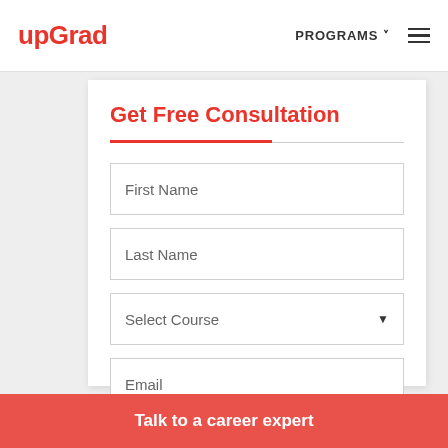upGrad | PROGRAMS
Get Free Consultation
First Name
Last Name
Select Course
Email
Talk to a career expert